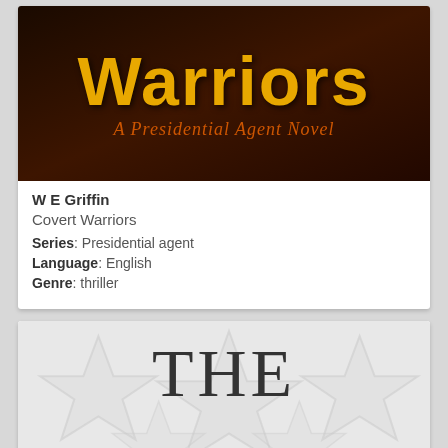[Figure (illustration): Book cover for 'Covert Warriors: A Presidential Agent Novel' by W E Griffin. Dark reddish-brown background with large yellow/gold 'Warriors' text and orange italic subtitle 'A Presidential Agent Novel'.]
W E Griffin
Covert Warriors
Series: Presidential agent
Language: English
Genre: thriller
[Figure (illustration): Book cover for 'The Shooters'. Light gray background with large star watermark pattern. Black serif text reading 'THE' on top and 'SHOOTERS' below.]